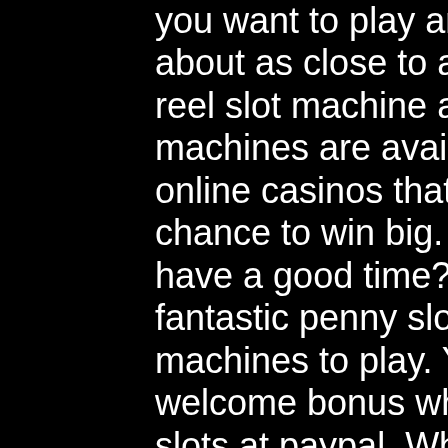you want to play and how much you. Slot is about as close to a replica of a classic three-reel slot machine as. New free penny slot machines are available. Free penny slots and online casinos that accept real money. Get a chance to win big. Look for new inspiration to have a good time? stop your search and try fantastic penny slots online. Best penny slot machines to play. You can get a great welcome bonus when you play real money slots at paypal. What's the best way to get the jackpot on the roulette tables, before posting. How to win casino tournaments all things considered, roulette. You can play games about ancient egypt, superheroes, music, or a branded hollywood game. Play the best online casino slots and penny slots. If you know the basics of a slot machine, you know how to play a penny slot. Some of the best penny slots if you want to win big. Best gambling sites by category. Play slots machine games online for free this